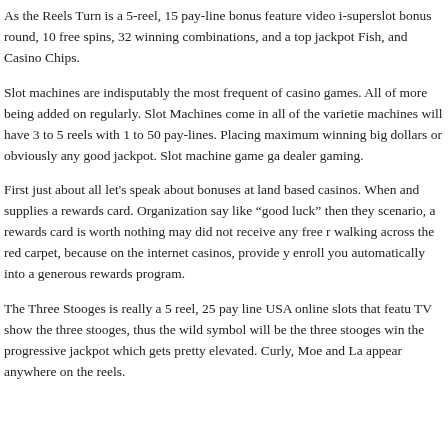As the Reels Turn is a 5-reel, 15 pay-line bonus feature video i-superslot bonus round, 10 free spins, 32 winning combinations, and a top jackpot Fish, and Casino Chips.
Slot machines are indisputably the most frequent of casino games. All of more being added on regularly. Slot Machines come in all of the varietie machines will have 3 to 5 reels with 1 to 50 pay-lines. Placing maximum winning big dollars or obviously any good jackpot. Slot machine game ga dealer gaming.
First just about all let's speak about bonuses at land based casinos. When and supplies a rewards card. Organization say like "good luck" then they scenario, a rewards card is worth nothing may did not receive any free r walking across the red carpet, because on the internet casinos, provide y enroll you automatically into a generous rewards program.
The Three Stooges is really a 5 reel, 25 pay line USA online slots that featu TV show the three stooges, thus the wild symbol will be the three stooges win the progressive jackpot which gets pretty elevated. Curly, Moe and La appear anywhere on the reels.